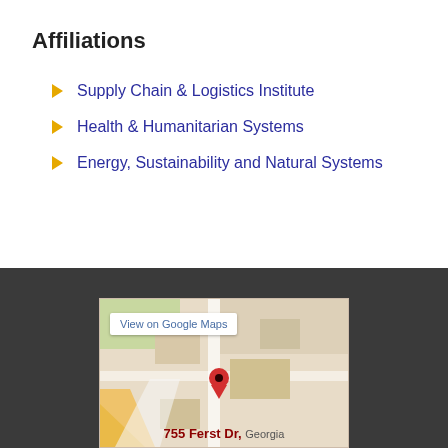Affiliations
Supply Chain & Logistics Institute
Health & Humanitarian Systems
Energy, Sustainability and Natural Systems
[Figure (map): Google Maps embed showing a location pin with 'View on Google Maps' button and partial address '755 Ferst Dr, Georgia' visible at the bottom]